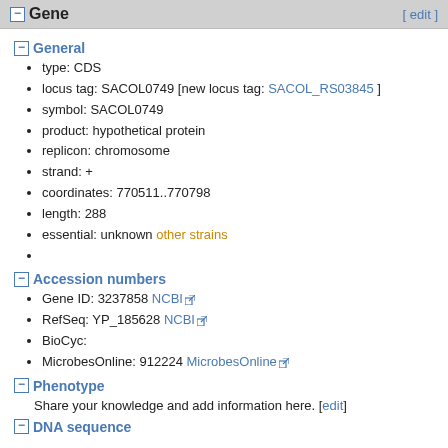Gene [ edit ]
General
type: CDS
locus tag: SACOL0749 [new locus tag: SACOL_RS03845 ]
symbol: SACOL0749
product: hypothetical protein
replicon: chromosome
strand: +
coordinates: 770511..770798
length: 288
essential: unknown other strains
Accession numbers
Gene ID: 3237858 NCBI
RefSeq: YP_185628 NCBI
BioCyc:
MicrobesOnline: 912224 MicrobesOnline
Phenotype
Share your knowledge and add information here. [edit]
DNA sequence